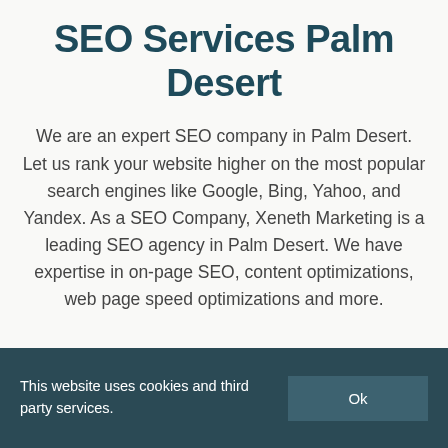SEO Services Palm Desert
We are an expert SEO company in Palm Desert. Let us rank your website higher on the most popular search engines like Google, Bing, Yahoo, and Yandex. As a SEO Company, Xeneth Marketing is a leading SEO agency in Palm Desert. We have expertise in on-page SEO, content optimizations, web page speed optimizations and more.
This website uses cookies and third party services.